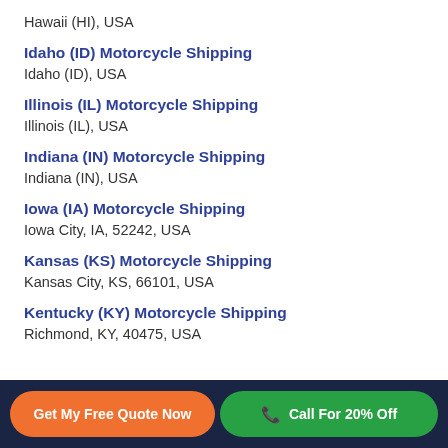Hawaii (HI), USA
Idaho (ID) Motorcycle Shipping
Idaho (ID), USA
Illinois (IL) Motorcycle Shipping
Illinois (IL), USA
Indiana (IN) Motorcycle Shipping
Indiana (IN), USA
Iowa (IA) Motorcycle Shipping
Iowa City, IA, 52242, USA
Kansas (KS) Motorcycle Shipping
Kansas City, KS, 66101, USA
Kentucky (KY) Motorcycle Shipping
Richmond, KY, 40475, USA
Get My Free Quote Now | Call For 20% Off